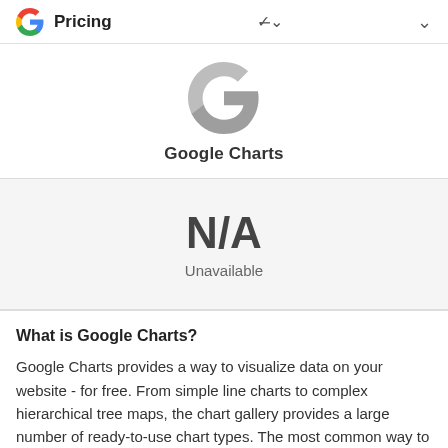Pricing
[Figure (logo): Google G logo (gray monochrome) above the text 'Google Charts']
Google Charts
N/A
Unavailable
What is Google Charts?
Google Charts provides a way to visualize data on your website - for free. From simple line charts to complex hierarchical tree maps, the chart gallery provides a large number of ready-to-use chart types. The most common way to use Google